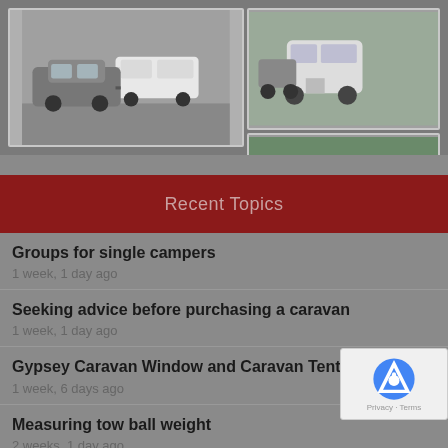[Figure (photo): Photo collage showing caravans and camping scenes: a white caravan being towed by an SUV on the left, a smaller scene in the top right, and a caravan with awning/tent on green grass on the bottom right]
Recent Topics
Groups for single campers
1 week, 1 day ago
Seeking advice before purchasing a caravan
1 week, 1 day ago
Gypsey Caravan Window and Caravan Tent
1 week, 6 days ago
Measuring tow ball weight
2 weeks, 1 day ago